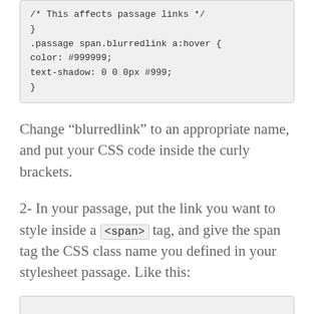/* This affects passage links */
}
.passage span.blurredlink a:hover {
color: #999999;
text-shadow: 0 0 0px #999;
}
Change “blurredlink” to an appropriate name, and put your CSS code inside the curly brackets.
2- In your passage, put the link you want to style inside a <span> tag, and give the span tag the CSS class name you defined in your stylesheet passage. Like this: